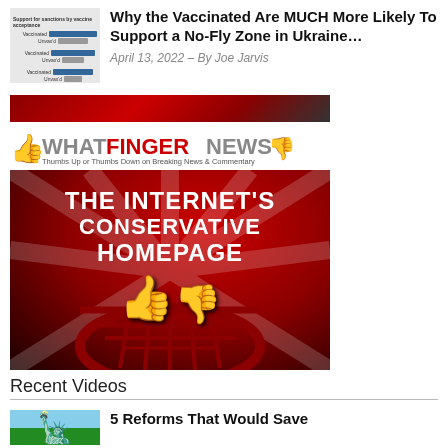[Figure (screenshot): Thumbnail image showing a bar chart survey graphic about vaccine status and Ukraine no-fly zone support]
Why the Vaccinated Are MUCH More Likely To Support a No-Fly Zone in Ukraine…
April 13, 2022 – By Joe Jarvis
[Figure (photo): Red dark banner background strip]
[Figure (logo): Whatfinger News logo with thumbs up and thumbs down icons. Tagline: Thumbs Up or Thumbs Down on Breaking News & Commentary]
[Figure (photo): Whatfinger News promotional banner image with bold white text reading THE INTERNET'S CONSERVATIVE HOMEPAGE with a thumbs up and thumbs down icon on dark red background with rays]
Recent Videos
[Figure (photo): Thumbnail image showing the Statue of Liberty]
5 Reforms That Would Save